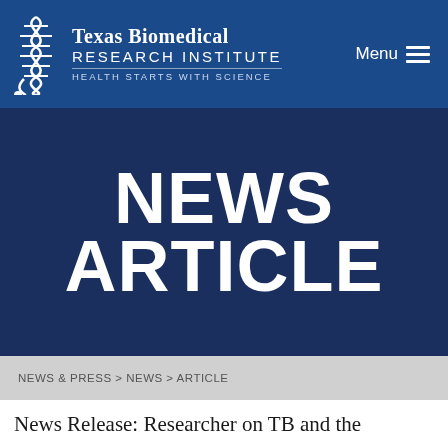Texas Biomedical Research Institute — Health Starts with Science | Menu
NEWS ARTICLE
NEWS & PRESS > NEWS > ARTICLE
News Release: Researcher on TB and the